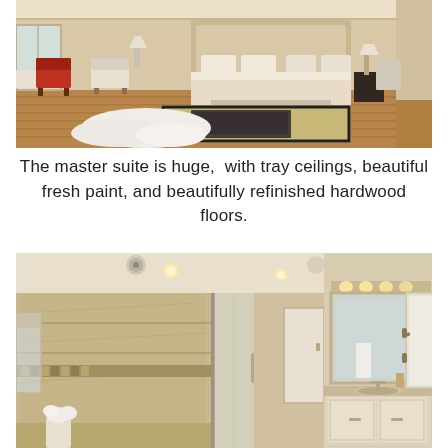[Figure (photo): Interior photo of a large master bedroom with hardwood floors, a white sheepskin rug, neutral-toned furniture, red accent chair, large bed with pillows, and tray ceiling with natural light.]
The master suite is huge,  with tray ceilings, beautiful fresh paint, and beautifully refinished hardwood floors.
[Figure (photo): Interior photo of a renovated master bathroom featuring a marble-tiled glass shower enclosure on the left, double vanity with granite countertop and mirror on the right, recessed lighting, and white cabinetry.]